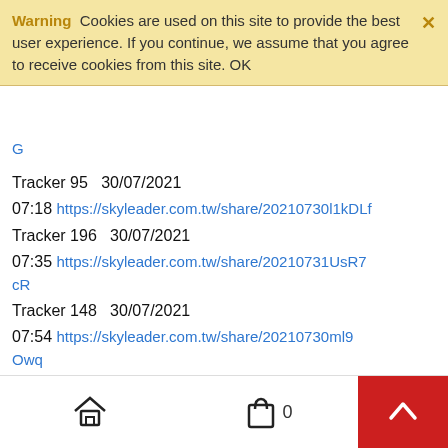Warning Cookies are used on this site to provide the best user experience. If you continue, we assume that you agree to receive cookies from this site. OK
G
Tracker 95   30/07/2021
07:18 https://skyleader.com.tw/share/20210730l1kDLf
Tracker 196   30/07/2021
07:35 https://skyleader.com.tw/share/20210731UsR7cR
Tracker 148   30/07/2021
07:54 https://skyleader.com.tw/share/20210730ml9Owq
Tracker 64   30/07/2021
07:58 https://skyleader.com.tw/share/202107312SE2Pz
Tracker 130   30/07/2021
Home  Cart 0  Up